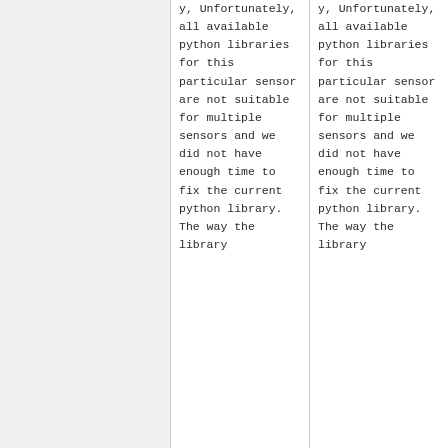Unfortunately, all available python libraries for this particular sensor are not suitable for multiple sensors and we did not have enough time to fix the current python library. The way the library
Unfortunately, all available python libraries for this particular sensor are not suitable for multiple sensors and we did not have enough time to fix the current python library. The way the library